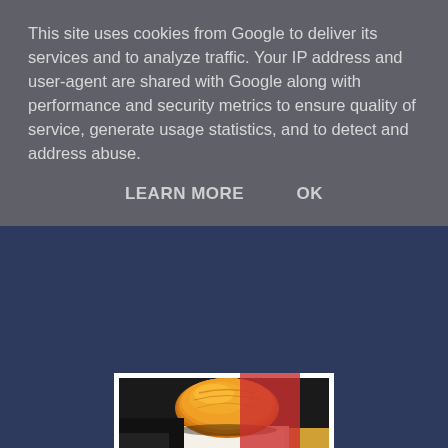This site uses cookies from Google to deliver its services and to analyze traffic. Your IP address and user-agent are shared with Google along with performance and security metrics to ensure quality of service, generate usage statistics, and to detect and address abuse.
LEARN MORE   OK
[Figure (photo): Close-up photo of a golden glazed pie in a white box, showing the shiny top crust with golden-brown colouring, slightly more yellow than expected. The pie appears handmade.]
The pie is golden in colour - a little more yellowy than I am used too. The lid has a nice shiny glazed surface. The pies are obviously hand-made, which is good, but I would have liked to have seen a bit more attention paid to the condition of the pie - some nice crimping, for example, would have been a good addition.
When I cut the pie open, I note that there is a rather underwhelming amount of filling. The photo below shows